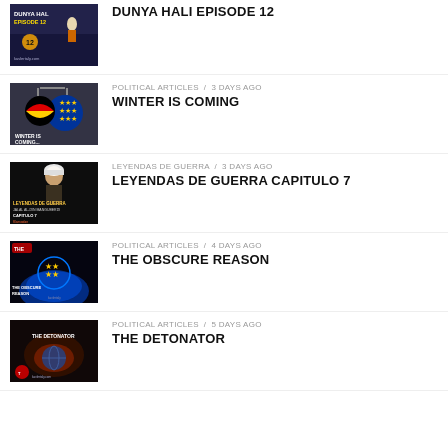DUNYA HALi EPISODE 12
POLITICAL ARTICLES / 3 days ago
WINTER IS COMING
LEYENDAS DE GUERRA / 3 days ago
LEYENDAS DE GUERRA CAPITULO 7
POLITICAL ARTICLES / 4 days ago
THE OBSCURE REASON
POLITICAL ARTICLES / 5 days ago
THE DETONATOR